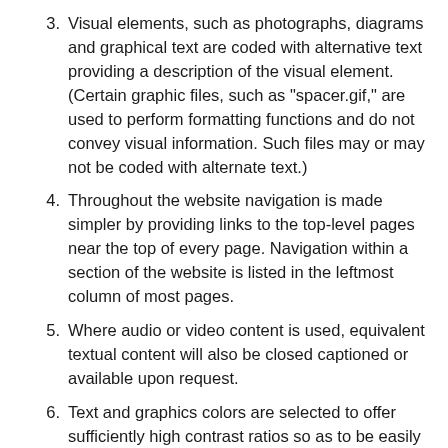3. Visual elements, such as photographs, diagrams and graphical text are coded with alternative text providing a description of the visual element. (Certain graphic files, such as "spacer.gif," are used to perform formatting functions and do not convey visual information. Such files may or may not be coded with alternate text.)
4. Throughout the website navigation is made simpler by providing links to the top-level pages near the top of every page. Navigation within a section of the website is listed in the leftmost column of most pages.
5. Where audio or video content is used, equivalent textual content will also be closed captioned or available upon request.
6. Text and graphics colors are selected to offer sufficiently high contrast ratios so as to be easily read.
7. Documents are encoded to indicate the predominant natural language (generally English) in which they are authored.